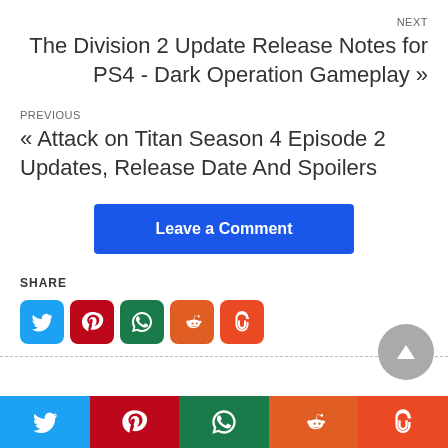NEXT
The Division 2 Update Release Notes for PS4 - Dark Operation Gameplay »
PREVIOUS
« Attack on Titan Season 4 Episode 2 Updates, Release Date And Spoilers
Leave a Comment
SHARE
[Figure (other): Social share icons: Twitter (blue), Pinterest (red), WhatsApp (green), Reddit (orange), Stumbleupon (orange-red)]
[Figure (other): Scroll to top button - grey circle with upward triangle]
[Figure (other): Bottom bar with 5 social media icons: Twitter, Pinterest, WhatsApp, Reddit, Stumbleupon]